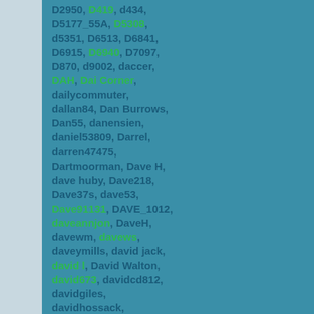D2950, D419, d434, D5177_55A, D5308, d5351, D6513, D6841, D6915, D6940, D7097, D870, d9002, daccer, DAH, Dai Corner, dailycommuter, dallan84, Dan Burrows, Dan55, danensien, daniel53809, Darrel, darren47475, Dartmoorman, Dave H, dave huby, Dave218, Dave37s, dave53, Dave91131, DAVE_1012, daveannjon, DaveH, davewm, davews, daveymills, david jack, david l, David Walton, david673, davidcd812, davidgiles, davidhossack, DavidinYork, DavidT046, DAVIMIA, Dazzler, DBS92042, dbt843, dcroall, dean56102, deano_g